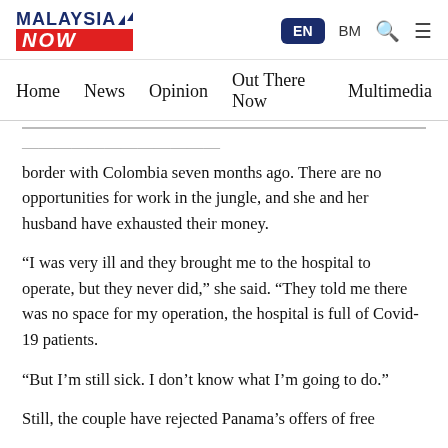MalaysiaNow — EN BM
Home  News  Opinion  Out There Now  Multimedia
…and her husband arrived at the Colombian border with Colombia seven months ago. There are no opportunities for work in the jungle, and she and her husband have exhausted their money.
“I was very ill and they brought me to the hospital to operate, but they never did,” she said. “They told me there was no space for my operation, the hospital is full of Covid-19 patients.
“But I’m still sick. I don’t know what I’m going to do.”
Still, the couple have rejected Panama’s offers of free